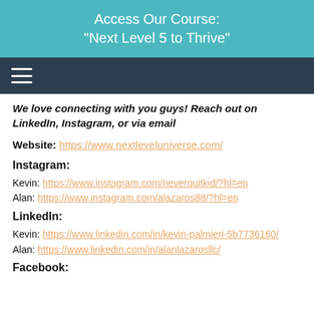Access Our Course:
"Next Level 5 to Thrive"
We love connecting with you guys! Reach out on LinkedIn, Instagram, or via email
Website: https://www.nextleveluniverse.com/
Instagram:
Kevin: https://www.instagram.com/neverquitkid/?hl=en
Alan: https://www.instagram.com/alazaros88/?hl=en
LinkedIn:
Kevin: https://www.linkedin.com/in/kevin-palmieri-5b7736160/
Alan: https://www.linkedin.com/in/alanlazarosllc/
Facebook: